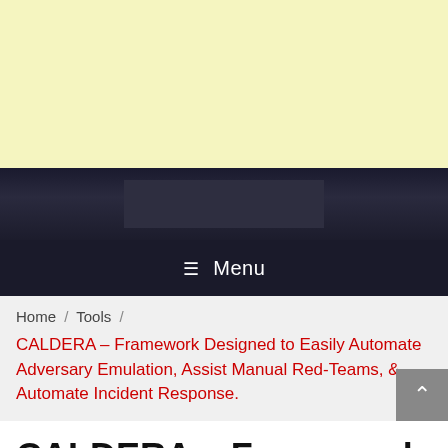[Figure (screenshot): Yellow banner area at top of webpage]
[Figure (screenshot): Dark navigation bar with lighter inner rectangle]
☰ Menu
Home / Tools /
CALDERA – Framework Designed to Easily Automate Adversary Emulation, Assist Manual Red-Teams, & Automate Incident Response.
CALDERA – Framework